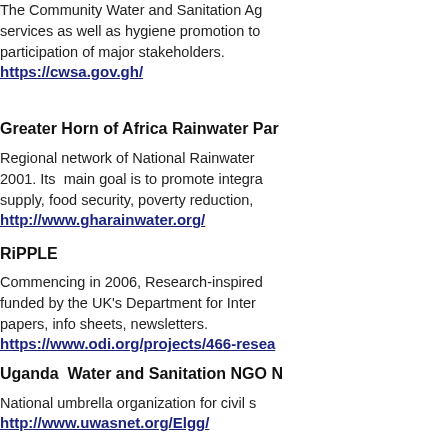The Community Water and Sanitation Agency (CWSA) services as well as hygiene promotion to... participation of major stakeholders.
https://cwsa.gov.gh/
Greater Horn of Africa Rainwater Partnership
Regional network of National Rainwater... 2001. Its main goal is to promote integrated... supply, food security, poverty reduction,
http://www.gharainwater.org/
RiPPLE
Commencing in 2006, Research-inspired... funded by the UK's Department for International... papers, info sheets, newsletters.
https://www.odi.org/projects/466-resea...
Uganda Water and Sanitation NGO Network
National umbrella organization for civil s...
http://www.uwasnet.org/Elgg/